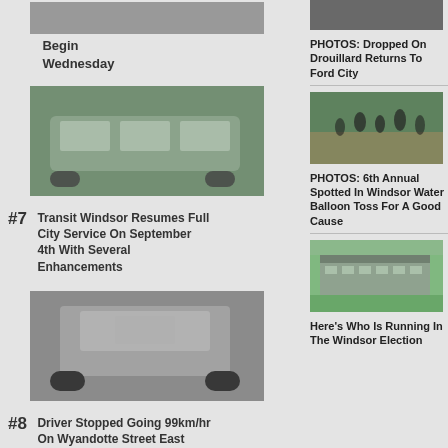[Figure (photo): Partial top of a news card showing the bottom portion with text 'Begin Wednesday']
Begin Wednesday
[Figure (photo): Photo of a Transit Windsor bus]
#7 Transit Windsor Resumes Full City Service On September 4th With Several Enhancements
[Figure (photo): Photo of a large truck (Suzuki or similar) viewed from the front]
#8 Driver Stopped Going 99km/hr On Wyandotte Street East
[Figure (map): Map showing railroad maintenance area with a red line and pin marker]
#9 Watch For Railroad Maintenance Road Cl...
[Figure (photo): Partial photo at top right - Dropped On Drouillard]
PHOTOS: Dropped On Drouillard Returns To Ford City
[Figure (photo): Photo of people running or doing a water balloon toss event]
PHOTOS: 6th Annual Spotted In Windsor Water Balloon Toss For A Good Cause
[Figure (photo): Aerial photo of a building/campus]
Here's Who Is Running In The Windsor Election